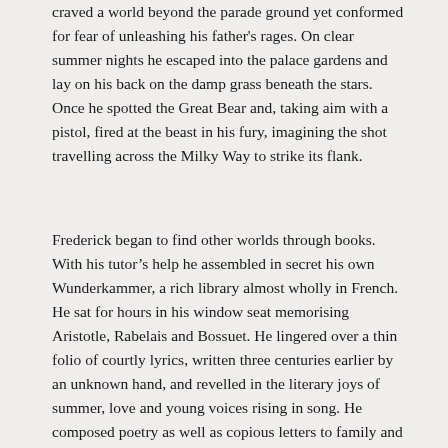craved a world beyond the parade ground yet conformed for fear of unleashing his father's rages. On clear summer nights he escaped into the palace gardens and lay on his back on the damp grass beneath the stars. Once he spotted the Great Bear and, taking aim with a pistol, fired at the beast in his fury, imagining the shot travelling across the Milky Way to strike its flank.
Frederick began to find other worlds through books. With his tutor's help he assembled in secret his own Wunderkammer, a rich library almost wholly in French. He sat for hours in his window seat memorising Aristotle, Rabelais and Bossuet. He lingered over a thin folio of courtly lyrics, written three centuries earlier by an unknown hand, and revelled in the literary joys of summer, love and young voices rising in song. He composed poetry as well as copious letters to family and friends. While overlooking the parading officers' plumes and the Marienkirche, he also penned essays on armed aggression and